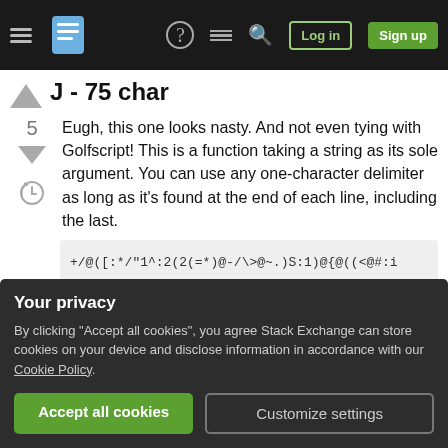Stack Exchange navigation bar with hamburger menu, logo, help, feedback, search, log in, sign up
J - 75 char
Eugh, this one looks nasty. And not even tying with Golfscript! This is a function taking a string as its sole argument. You can use any one-character delimiter as long as it's found at the end of each line, including the last.
+//@([:*/ "1^:2(2(=*)@-/\>@~.)S:1)@{@(( (<@#:i
An explanation follows. Note that the function can
Your privacy
By clicking "Accept all cookies", you agree Stack Exchange can store cookies on your device and disclose information in accordance with our Cookie Policy.
character at the end of the string as the